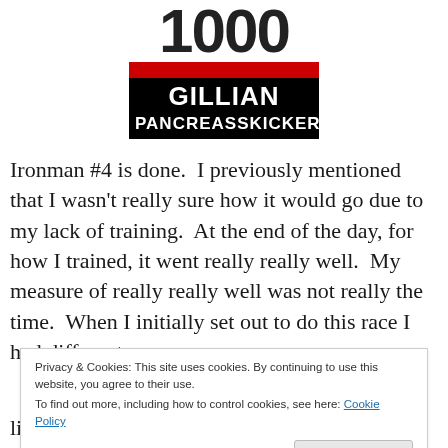[Figure (other): Race bib image showing large number '1000' at top, then a black bib with red stripe, name GILLIAN and surname PANCREASSKICKER in white bold text]
Ironman #4 is done.  I previously mentioned that I wasn't really sure how it would go due to my lack of training.  At the end of the day, for how I trained, it went really really well.  My measure of really really well was not really the time.  When I initially set out to do this race I had different
Privacy & Cookies: This site uses cookies. By continuing to use this website, you agree to their use.
To find out more, including how to control cookies, see here: Cookie Policy
like I didn't get a true Ironman experience because I didn't